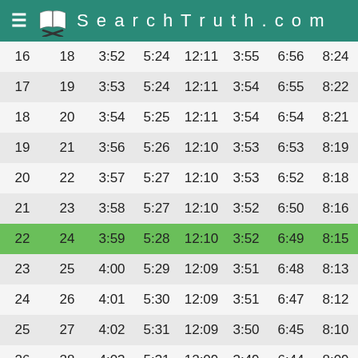SearchTruth.com
| 16 | 18 | 3:52 | 5:24 | 12:11 | 3:55 | 6:56 | 8:24 |
| 17 | 19 | 3:53 | 5:24 | 12:11 | 3:54 | 6:55 | 8:22 |
| 18 | 20 | 3:54 | 5:25 | 12:11 | 3:54 | 6:54 | 8:21 |
| 19 | 21 | 3:56 | 5:26 | 12:10 | 3:53 | 6:53 | 8:19 |
| 20 | 22 | 3:57 | 5:27 | 12:10 | 3:53 | 6:52 | 8:18 |
| 21 | 23 | 3:58 | 5:27 | 12:10 | 3:52 | 6:50 | 8:16 |
| 22 | 24 | 3:59 | 5:28 | 12:10 | 3:52 | 6:49 | 8:15 |
| 23 | 25 | 4:00 | 5:29 | 12:09 | 3:51 | 6:48 | 8:13 |
| 24 | 26 | 4:01 | 5:30 | 12:09 | 3:51 | 6:47 | 8:12 |
| 25 | 27 | 4:02 | 5:31 | 12:09 | 3:50 | 6:45 | 8:10 |
| 26 | 28 | 4:03 | 5:31 | 12:09 | 3:49 | 6:44 | 8:09 |